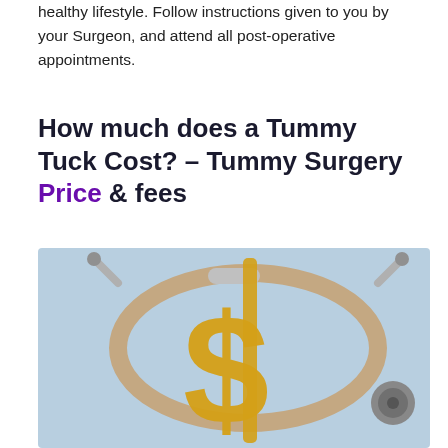healthy lifestyle. Follow instructions given to you by your Surgeon, and attend all post-operative appointments.
How much does a Tummy Tuck Cost? – Tummy Surgery Price & fees
[Figure (photo): A gold dollar sign symbol intertwined with a medical stethoscope on a light blue background, representing the cost of medical/surgical procedures.]